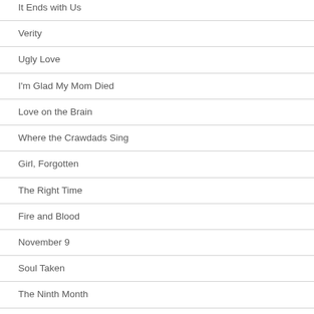It Ends with Us
Verity
Ugly Love
I'm Glad My Mom Died
Love on the Brain
Where the Crawdads Sing
Girl, Forgotten
The Right Time
Fire and Blood
November 9
Soul Taken
The Ninth Month
The 6:20 Man
All Good People Here